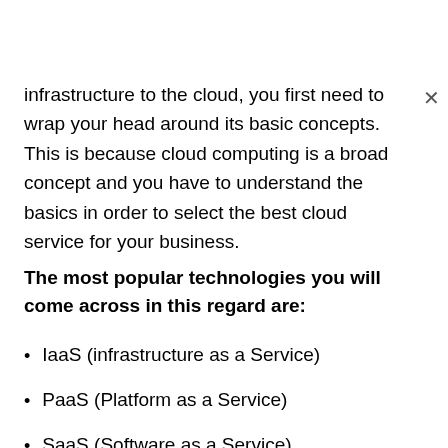infrastructure to the cloud, you first need to wrap your head around its basic concepts. This is because cloud computing is a broad concept and you have to understand the basics in order to select the best cloud service for your business.
The most popular technologies you will come across in this regard are:
IaaS (infrastructure as a Service)
PaaS (Platform as a Service)
SaaS (Software as a Service).